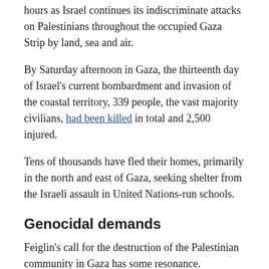hours as Israel continues its indiscriminate attacks on Palestinians throughout the occupied Gaza Strip by land, sea and air.
By Saturday afternoon in Gaza, the thirteenth day of Israel's current bombardment and invasion of the coastal territory, 339 people, the vast majority civilians, had been killed in total and 2,500 injured.
Tens of thousands have fled their homes, primarily in the north and east of Gaza, seeking shelter from the Israeli assault in United Nations-run schools.
Genocidal demands
Feiglin's call for the destruction of the Palestinian community in Gaza has some resonance.
Just a day before Feiglin's article, Rabbi Ben Packer made a